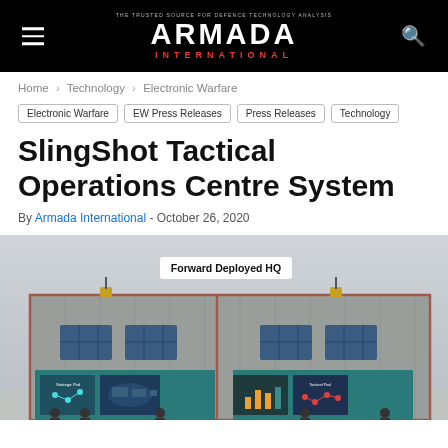ARMADA INTERNATIONAL — THE TRUSTED SOURCE FOR DEFENCE TECHNOLOGY ANALYSIS
Home > Technology > Electronic Warfare
Electronic Warfare
EW Press Releases
Press Releases
Technology
SlingShot Tactical Operations Centre System
By Armada International - October 26, 2020
[Figure (illustration): Illustration of a Forward Deployed HQ military shipping container building with windows and screens showing maps and data displays inside. Label reads 'Forward Deployed HQ'.]